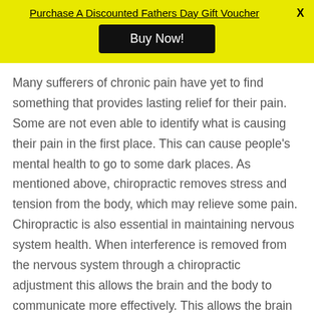Purchase A Discounted Fathers Day Gift Voucher
Buy Now!
Many sufferers of chronic pain have yet to find something that provides lasting relief for their pain. Some are not even able to identify what is causing their pain in the first place. This can cause people’s mental health to go to some dark places. As mentioned above, chiropractic removes stress and tension from the body, which may relieve some pain. Chiropractic is also essential in maintaining nervous system health. When interference is removed from the nervous system through a chiropractic adjustment this allows the brain and the body to communicate more effectively. This allows the brain to better recognise any dysfunction in the body in order to start healing it. It also allows the brain to perceive when